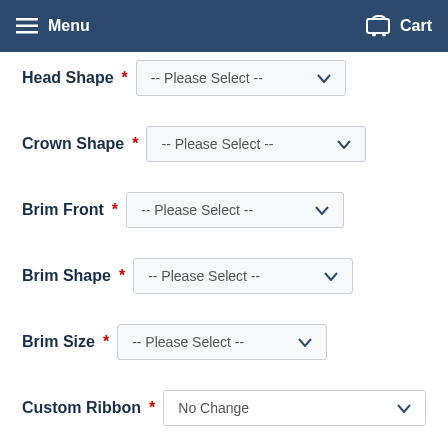Menu   Cart
Head Shape * -- Please Select --
Crown Shape * -- Please Select --
Brim Front * -- Please Select --
Brim Shape * -- Please Select --
Brim Size * -- Please Select --
Custom Ribbon * No Change